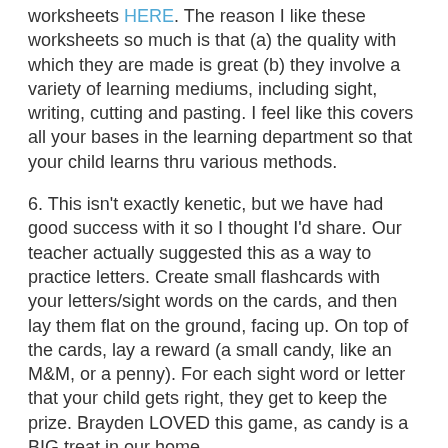worksheets HERE. The reason I like these worksheets so much is that (a) the quality with which they are made is great (b) they involve a variety of learning mediums, including sight, writing, cutting and pasting. I feel like this covers all your bases in the learning department so that your child learns thru various methods.
6. This isn't exactly kenetic, but we have had good success with it so I thought I'd share. Our teacher actually suggested this as a way to practice letters. Create small flashcards with your letters/sight words on the cards, and then lay them flat on the ground, facing up. On top of the cards, lay a reward (a small candy, like an M&M, or a penny). For each sight word or letter that your child gets right, they get to keep the prize. Brayden LOVED this game, as candy is a BIG treat in our home.
7. Draw the sightwords on the sidewalk with chalk, and call out a word, having the child run and JUMP on the sight word.
8. Use a dry erase marker to write sightwords on the back of a cookie sheet. Then give your child magnetic letters (I found